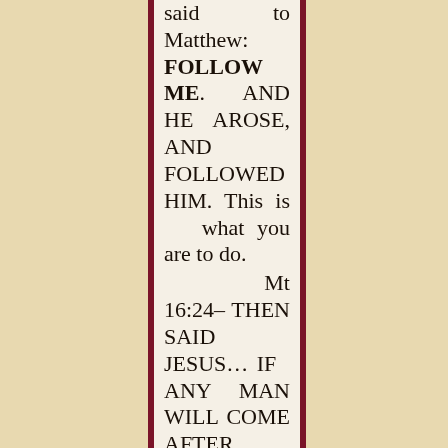said to Matthew: FOLLOW ME. AND HE AROSE, AND FOLLOWED HIM. This is what you are to do.
Mt 16:24– THEN SAID JESUS… IF ANY MAN WILL COME AFTER